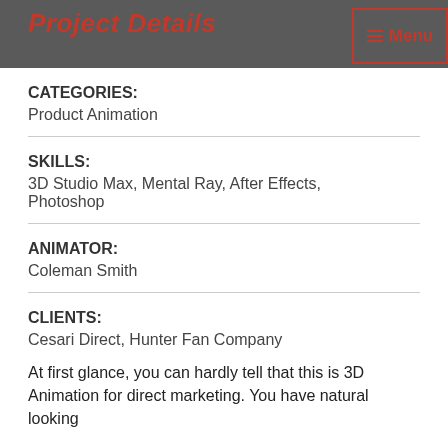Project Details
CATEGORIES:
Product Animation
SKILLS:
3D Studio Max, Mental Ray, After Effects, Photoshop
ANIMATOR:
Coleman Smith
CLIENTS:
Cesari Direct, Hunter Fan Company
At first glance, you can hardly tell that this is 3D Animation for direct marketing. You have natural looking